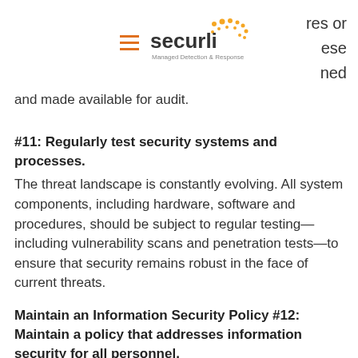securli Managed Detection & Response
res or ese ned and made available for audit.
#11: Regularly test security systems and processes.
The threat landscape is constantly evolving. All system components, including hardware, software and procedures, should be subject to regular testing—including vulnerability scans and penetration tests—to ensure that security remains robust in the face of current threats.
Maintain an Information Security Policy #12: Maintain a policy that addresses information security for all personnel.